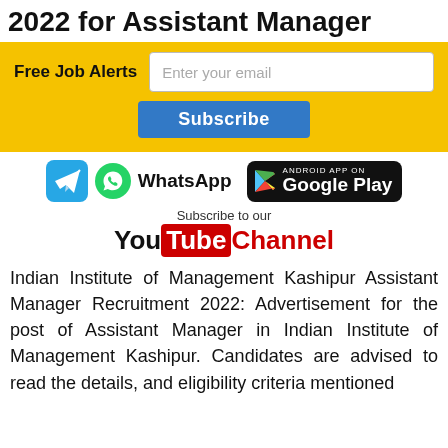2022 for Assistant Manager
[Figure (infographic): Free Job Alerts subscription banner with email input and Subscribe button on yellow background]
[Figure (infographic): Social media icons: Telegram, WhatsApp, Google Play badge, YouTube channel subscription prompt]
Indian Institute of Management Kashipur Assistant Manager Recruitment 2022: Advertisement for the post of Assistant Manager in Indian Institute of Management Kashipur. Candidates are advised to read the details, and eligibility criteria mentioned